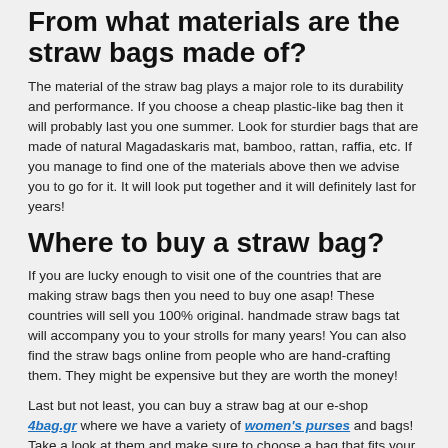From what materials are the straw bags made of?
The material of the straw bag plays a major role to its durability and performance. If you choose a cheap plastic-like bag then it will probably last you one summer. Look for sturdier bags that are made of natural Magadaskaris mat, bamboo, rattan, raffia, etc. If you manage to find one of the materials above then we advise you to go for it. It will look put together and it will definitely last for years!
Where to buy a straw bag?
If you are lucky enough to visit one of the countries that are making straw bags then you need to buy one asap! These countries will sell you 100% original. handmade straw bags tat will accompany you to your strolls for many years! You can also find the straw bags online from people who are hand-crafting them. They might be expensive but they are worth the money!
Last but not least, you can buy a straw bag at our e-shop 4bag.gr where we have a variety of women's purses and bags! Take a look at them and make sure to choose a bag that fits your everyday needs!